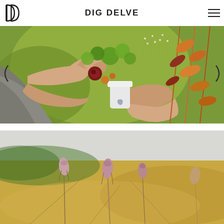DIG DELVE
[Figure (photo): Hands arranging a floral bouquet with green, orange, and autumn-colored flowers and foliage against a green background]
[Figure (photo): Close-up of delicate pink/mauve seed pods or flower buds on thin stems with a blurred golden field background]